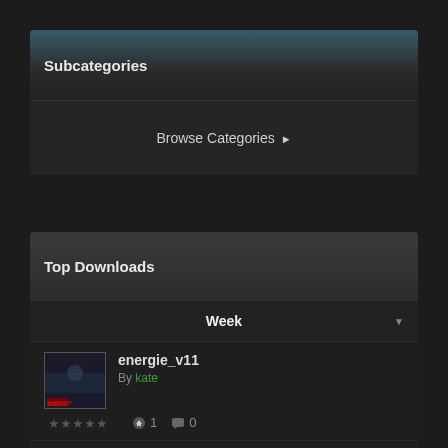Subcategories
Browse Categories ▶
Top Downloads
Week
energie_v11
By kate
★★★★★ ⬇1 💬0
wolken3_final
By kate
★★★★★ ⬇1 💬0